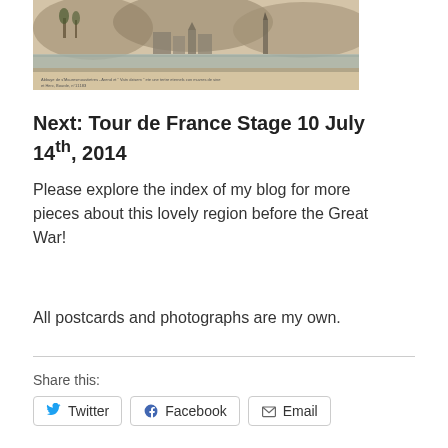[Figure (photo): Historical black and white engraving/postcard of a French landscape with buildings, a river, and hills. Caption text at bottom in French.]
Next: Tour de France Stage 10 July 14th, 2014
Please explore the index of my blog for more pieces about this lovely region before the Great War!
All postcards and photographs are my own.
Share this:
Twitter
Facebook
Email